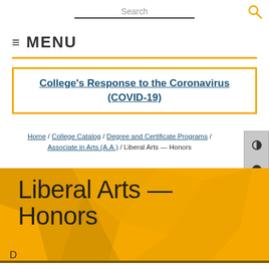Search
≡ MENU
College's Response to the Coronavirus (COVID-19)
Home / College Catalog / Degree and Certificate Programs / Associate in Arts (A.A.) / Liberal Arts — Honors
Liberal Arts — Honors
Description